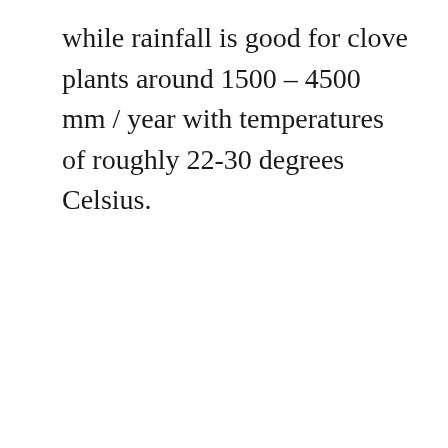while rainfall is good for clove plants around 1500 – 4500 mm / year with temperatures of roughly 22-30 degrees Celsius.